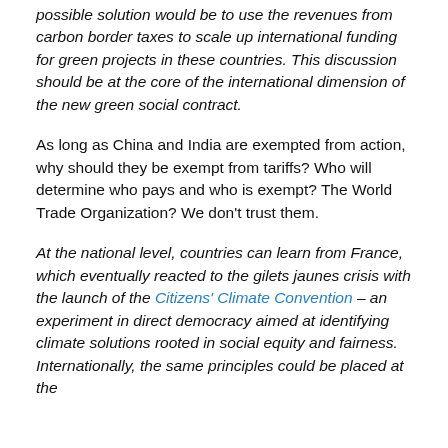possible solution would be to use the revenues from carbon border taxes to scale up international funding for green projects in these countries. This discussion should be at the core of the international dimension of the new green social contract.
As long as China and India are exempted from action, why should they be exempt from tariffs? Who will determine who pays and who is exempt? The World Trade Organization? We don't trust them.
At the national level, countries can learn from France, which eventually reacted to the gilets jaunes crisis with the launch of the Citizens' Climate Convention – an experiment in direct democracy aimed at identifying climate solutions rooted in social equity and fairness. Internationally, the same principles could be placed at the